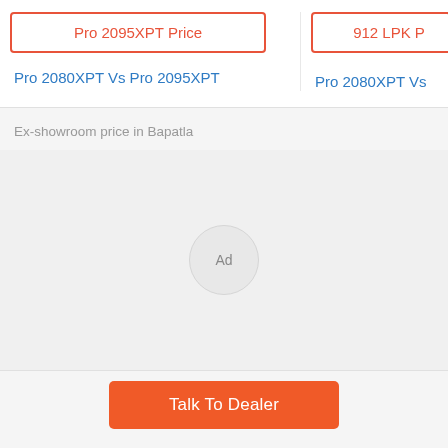Pro 2095XPT Price
912 LPK P
Pro 2080XPT Vs Pro 2095XPT
Pro 2080XPT Vs
Ex-showroom price in Bapatla
Ad
Talk To Dealer